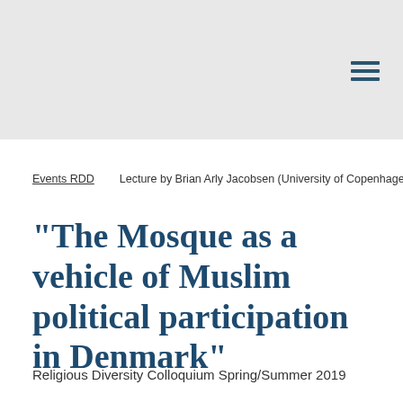Events RDD    Lecture by Brian Arly Jacobsen (University of Copenhagen)
"The Mosque as a vehicle of Muslim political participation in Denmark"
Religious Diversity Colloquium Spring/Summer 2019